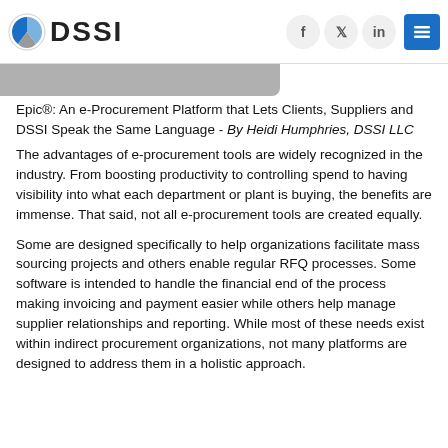DSSI
Epic®: An e-Procurement Platform that Lets Clients, Suppliers and DSSI Speak the Same Language - By Heidi Humphries, DSSI LLC
The advantages of e-procurement tools are widely recognized in the industry. From boosting productivity to controlling spend to having visibility into what each department or plant is buying, the benefits are immense. That said, not all e-procurement tools are created equally.
Some are designed specifically to help organizations facilitate mass sourcing projects and others enable regular RFQ processes. Some software is intended to handle the financial end of the process making invoicing and payment easier while others help manage supplier relationships and reporting. While most of these needs exist within indirect procurement organizations, not many platforms are designed to address them in a holistic approach.